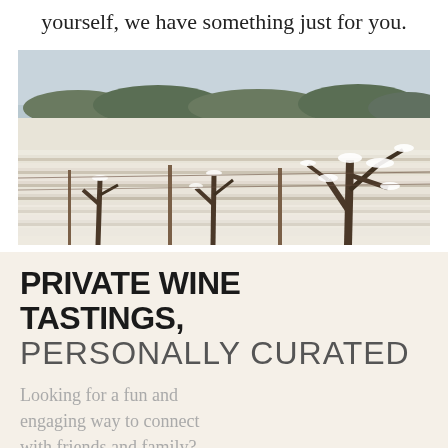yourself, we have something just for you.
[Figure (photo): Snow-covered vineyard with gnarled old vines in the foreground dusted with snow, rows of vines extending into the background, bare winter trees on the horizon under a grey sky.]
PRIVATE WINE TASTINGS, PERSONALLY CURATED
Looking for a fun and engaging way to connect with friends and family? Whether you gather online or